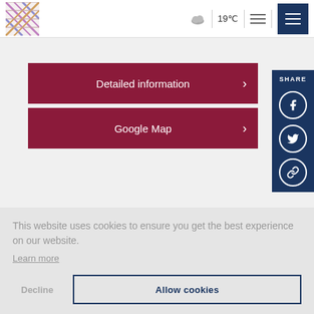[Figure (logo): Woven tartan-style logo in pink, blue, and gold colors]
19°C
Detailed information
Google Map
[Figure (infographic): SHARE sidebar with Facebook, Twitter, and link icons on dark navy background]
This website uses cookies to ensure you get the best experience on our website.
Learn more
Decline
Allow cookies